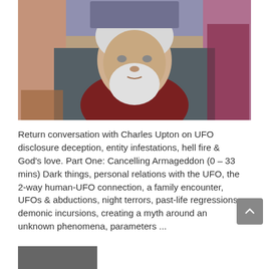[Figure (photo): Elderly man with white hair and beard wearing a dark red shirt, seated in front of a colorful religious mosaic or tapestry background. Video call screenshot.]
Return conversation with Charles Upton on UFO disclosure deception, entity infestations, hell fire & God's love. Part One: Cancelling Armageddon (0 – 33 mins) Dark things, personal relations with the UFO, the 2-way human-UFO connection, a family encounter, UFOs & abductions, night terrors, past-life regressions, demonic incursions, creating a myth around an unknown phenomena, parameters ...